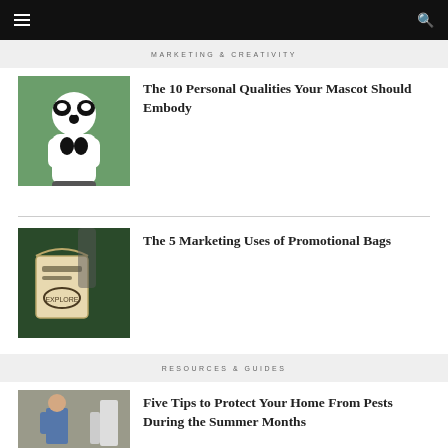MARKETING & CREATIVITY
[Figure (photo): Person in a panda mascot costume standing next to a bride outdoors]
The 10 Personal Qualities Your Mascot Should Embody
[Figure (photo): Hand holding a canvas tote bag with 'EXPLORE' text, surrounded by greenery]
The 5 Marketing Uses of Promotional Bags
RESOURCES & GUIDES
[Figure (photo): Man in blue overalls standing in a kitchen, pest control worker]
Five Tips to Protect Your Home From Pests During the Summer Months